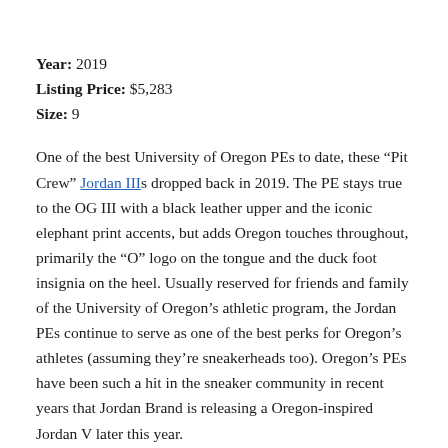Year: 2019
Listing Price: $5,283
Size: 9
One of the best University of Oregon PEs to date, these “Pit Crew” Jordan IIIs dropped back in 2019. The PE stays true to the OG III with a black leather upper and the iconic elephant print accents, but adds Oregon touches throughout, primarily the “O” logo on the tongue and the duck foot insignia on the heel. Usually reserved for friends and family of the University of Oregon’s athletic program, the Jordan PEs continue to serve as one of the best perks for Oregon’s athletes (assuming they’re sneakerheads too). Oregon’s PEs have been such a hit in the sneaker community in recent years that Jordan Brand is releasing a Oregon-inspired Jordan V later this year.